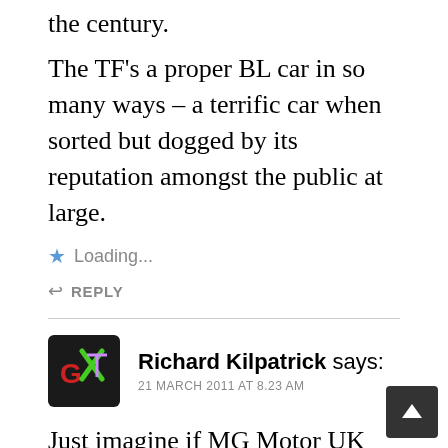the century.
The TF’s a proper BL car in so many ways – a terrific car when sorted but dogged by its reputation amongst the public at large.
★ Loading...
↩ REPLY
Richard Kilpatrick says:
21 MARCH 2011 AT 8.23 AM
Just imagine if MG Motor UK did this:
Stripped out MG TF. Plain colours only. Hardtop as an option.